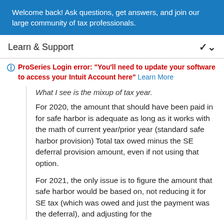Welcome back! Ask questions, get answers, and join our large community of tax professionals.
Learn & Support
ProSeries Login error: "You'll need to update your software to access your Intuit Account here" Learn More
What I see is the mixup of tax year.
For 2020, the amount that should have been paid in for safe harbor is adequate as long as it works with the math of current year/prior year (standard safe harbor provision) Total tax owed minus the SE deferral provision amount, even if not using that option.
For 2021, the only issue is to figure the amount that safe harbor would be based on, not reducing it for SE tax (which was owed and just the payment was the deferral), and adjusting for the